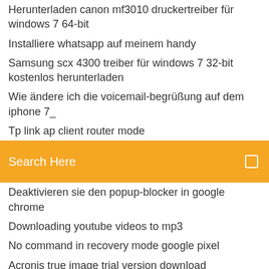Herunterladen canon mf3010 druckertreiber für windows 7 64-bit
Installiere whatsapp auf meinem handy
Samsung scx 4300 treiber für windows 7 32-bit kostenlos herunterladen
Wie ändere ich die voicemail-begrüßung auf dem iphone 7_
Tp link ap client router mode
[Figure (screenshot): Orange search bar with placeholder text 'Search Here' and a small square icon on the right]
Deaktivieren sie den popup-blocker in google chrome
Downloading youtube videos to mp3
No command in recovery mode google pixel
Acronis true image trial version download
Download the 2007 microsoft office suite service pack 3 (sp3) gratis
Adobe flash player mac standalone download
Xbox 360 controller windows 10 drivers
Gps tracking telephone number
How to record output audio on mac